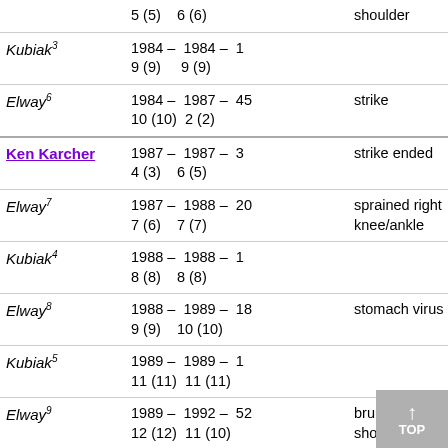| Name | Dates/Games | # Games | Reason | Star | Record |
| --- | --- | --- | --- | --- | --- |
|  | 5 (5)  6 (6) |  | shoulder |  |  |
| Kubiak³ | 1984 – 9 (9)  1984 – 9 (9)  1 |  |  | * | 1-0 |
| Elway⁶ | 1984 – 10 (10)  1987 – 2 (2)  45 | strike |  |  | 30-14-1 |
| Ken Karcher | 1987 – 4 (3)  1987 – 6 (5)  3 | strike ended |  |  | 2-1 |
| Elway⁷ | 1987 – 7 (6)  1988 – 7 (7)  20 | sprained right knee/ankle |  |  | 13-7 |
| Kubiak⁴ | 1988 – 8 (8)  1988 – 8 (8)  1 |  | * |  | 0-1 |
| Elway⁸ | 1988 – 9 (9)  1989 – 10 (10)  18 | stomach virus |  |  | 12-6 |
| Kubiak⁵ | 1989 – 11 (11)  1989 – 11 (11)  1 |  | * |  | 1-0 |
| Elway⁹ | 1989 – 12 (12)  1992 – 11 (10)  52 | bruised right shoulder |  |  |  |